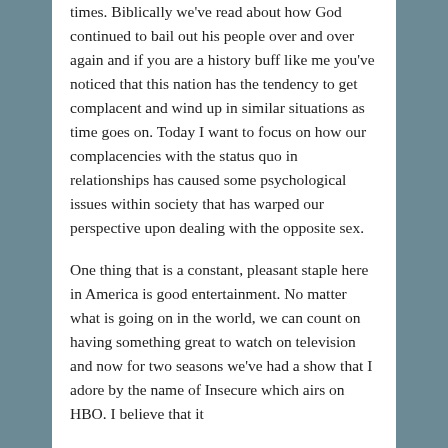times.  Biblically we've read about how God continued to bail out his people over and over again and if you are a history buff like me you've noticed that this nation has the tendency to get complacent and wind up in similar situations as time goes on.  Today I want to focus on how our complacencies with the status quo in relationships has caused some psychological issues within society that has warped our perspective upon dealing with the opposite sex.
One thing that is a constant, pleasant staple here in America is good entertainment.  No matter what is going on in the world, we can count on having something great to watch on television and now for two seasons we've had a show that I adore by the name of Insecure which airs on HBO.  I believe that it